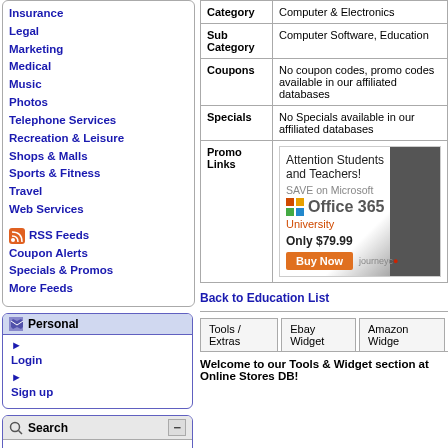Insurance
Legal
Marketing
Medical
Music
Photos
Telephone Services
Recreation & Leisure
Shops & Malls
Sports & Fitness
Travel
Web Services
RSS Feeds
Coupon Alerts
Specials & Promos
More Feeds
Personal
Login
Sign up
Search
Web counters
|  | Hits | Visitors |
| --- | --- | --- |
| Today | 3,570 | 3,239 |
| Yesterday | 42,000 | 38,217 |
| Category |  |
| --- | --- |
| Category | Computer & Electronics |
| Sub Category | Computer Software, Education |
| Coupons | No coupon codes, promo codes available in our affiliated databases |
| Specials | No Specials available in our affiliated databases |
| Promo Links | Ad: Attention Students and Teachers! SAVE on Microsoft Office 365 University Only $79.99 Buy Now |
Back to Education List
Tools / Extras | Ebay Widget | Amazon Widget
Welcome to our Tools & Widget section at Online Stores DB!